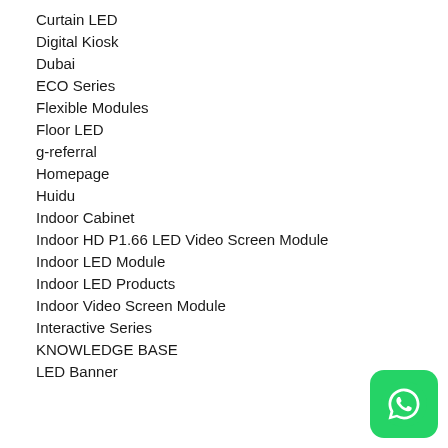Curtain LED
Digital Kiosk
Dubai
ECO Series
Flexible Modules
Floor LED
g-referral
Homepage
Huidu
Indoor Cabinet
Indoor HD P1.66 LED Video Screen Module
Indoor LED Module
Indoor LED Products
Indoor Video Screen Module
Interactive Series
KNOWLEDGE BASE
LED Banner
[Figure (logo): WhatsApp green rounded square button icon]